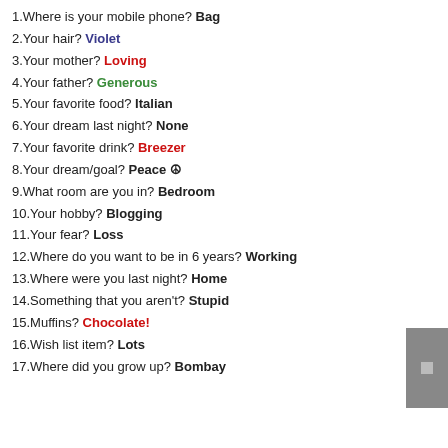1.Where is your mobile phone? Bag
2.Your hair? Violet
3.Your mother? Loving
4.Your father? Generous
5.Your favorite food? Italian
6.Your dream last night? None
7.Your favorite drink? Breezer
8.Your dream/goal? Peace ☮
9.What room are you in? Bedroom
10.Your hobby? Blogging
11.Your fear? Loss
12.Where do you want to be in 6 years? Working
13.Where were you last night? Home
14.Something that you aren't? Stupid
15.Muffins? Chocolate!
16.Wish list item? Lots
17.Where did you grow up? Bombay